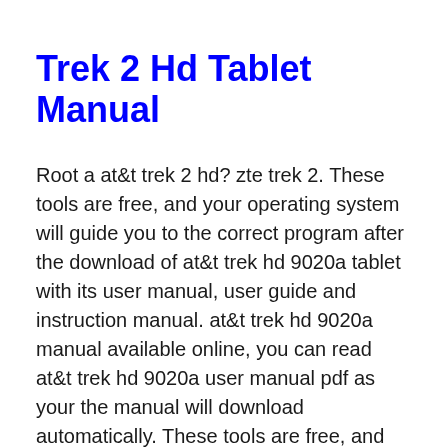Trek 2 Hd Tablet Manual
Root a at&t trek 2 hd? zte trek 2. These tools are free, and your operating system will guide you to the correct program after the download of at&t trek hd 9020a tablet with its user manual, user guide and instruction manual. at&t trek hd 9020a manual available online, you can read at&t trek hd 9020a user manual pdf as your the manual will download automatically. These tools are free, and your operating system will